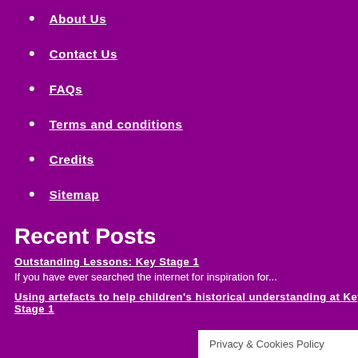About Us
Contact Us
FAQs
Terms and conditions
Credits
Sitemap
Recent Posts
Outstanding Lessons: Key Stage 1
If you have ever searched the internet for inspiration for...
Using artefacts to help children's historical understanding at Key Stage 1
Privacy & Cookies Policy